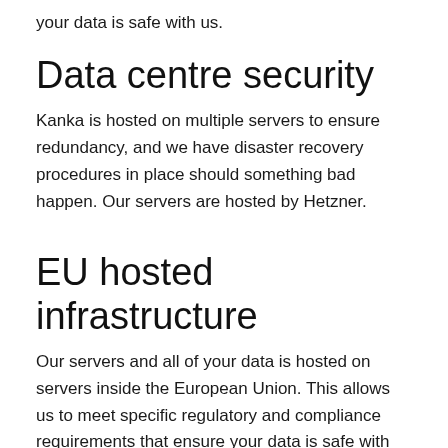your data is safe with us.
Data centre security
Kanka is hosted on multiple servers to ensure redundancy, and we have disaster recovery procedures in place should something bad happen. Our servers are hosted by Hetzner.
EU hosted infrastructure
Our servers and all of your data is hosted on servers inside the European Union. This allows us to meet specific regulatory and compliance requirements that ensure your data is safe with us. Our data center providers Hetzner and Amazon Cloud Europe